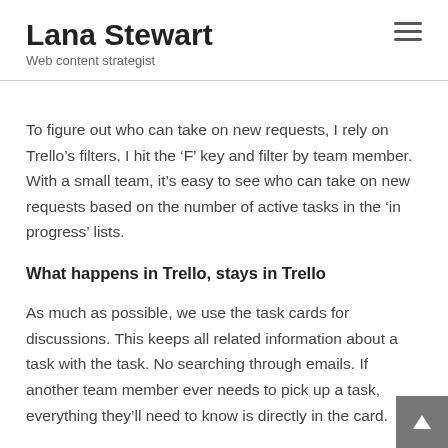Lana Stewart
Web content strategist
To figure out who can take on new requests, I rely on Trello’s filters. I hit the ‘F’ key and filter by team member. With a small team, it’s easy to see who can take on new requests based on the number of active tasks in the ‘in progress’ lists.
What happens in Trello, stays in Trello
As much as possible, we use the task cards for discussions. This keeps all related information about a task with the task. No searching through emails. If another team member ever needs to pick up a task, everything they’ll need to know is directly in the card.